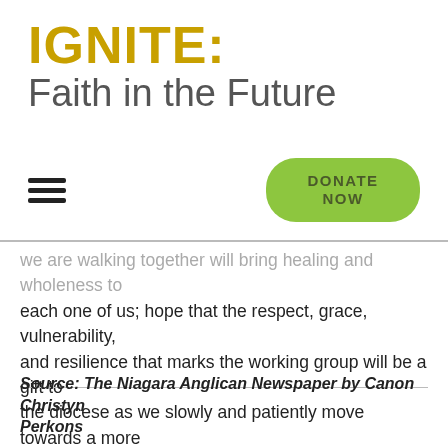IGNITE: Faith in the Future
[Figure (other): Hamburger menu icon (three horizontal lines) and a green rounded 'DONATE NOW' button]
we are walking together will bring healing and wholeness to each one of us; hope that the respect, grace, vulnerability, and resilience that marks the working group will be a gift to the diocese as we slowly and patiently move towards a more just, diverse, inclusive and equitable community.
Source: The Niagara Anglican Newspaper by Canon Christyn Perkons